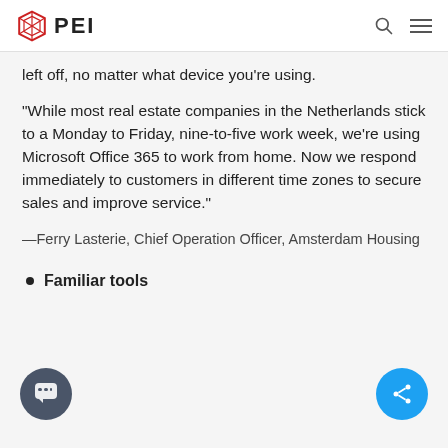PEI
left off, no matter what device you're using.
“While most real estate companies in the Netherlands stick to a Monday to Friday, nine-to-five work week, we’re using Microsoft Office 365 to work from home. Now we respond immediately to customers in different time zones to secure sales and improve service.”
—Ferry Lasterie, Chief Operation Officer, Amsterdam Housing
Familiar tools